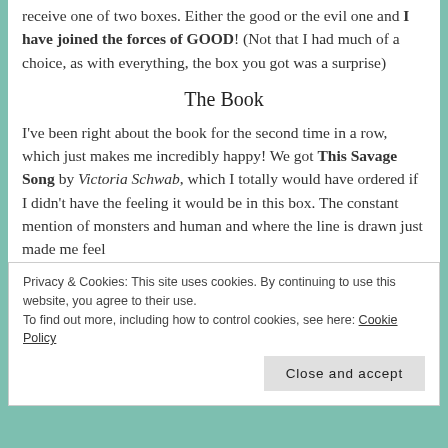receive one of two boxes. Either the good or the evil one and I have joined the forces of GOOD! (Not that I had much of a choice, as with everything, the box you got was a surprise)
The Book
I've been right about the book for the second time in a row, which just makes me incredibly happy! We got This Savage Song by Victoria Schwab, which I totally would have ordered if I didn't have the feeling it would be in this box. The constant mention of monsters and human and where the line is drawn just made me feel
Privacy & Cookies: This site uses cookies. By continuing to use this website, you agree to their use.
To find out more, including how to control cookies, see here: Cookie Policy
Close and accept